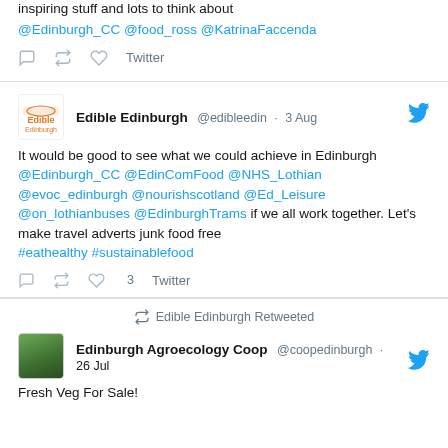inspiring stuff and lots to think about @Edinburgh_CC @food_ross @KatrinaFaccenda
Twitter actions (reply, retweet, like)
Edible Edinburgh @edibleedin · 3 Aug — It would be good to see what we could achieve in Edinburgh @Edinburgh_CC @EdinComFood @NHS_Lothian @evoc_edinburgh @nourishscotland @Ed_Leisure @on_lothianbuses @EdinburghTrams if we all work together. Let's make travel adverts junk food free #eathealthy #sustainablefood
Twitter actions (reply, retweet, like 3)
Edible Edinburgh Retweeted
Edinburgh Agroecology Coop @coopedinburgh · 26 Jul
Fresh Veg For Sale!